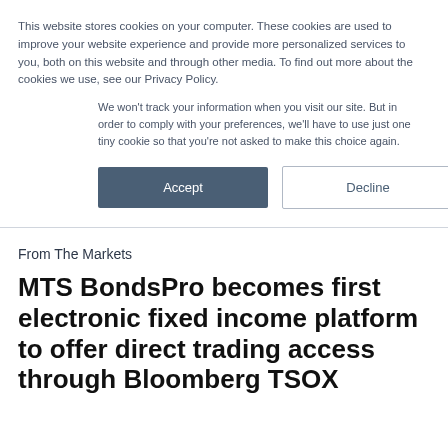This website stores cookies on your computer. These cookies are used to improve your website experience and provide more personalized services to you, both on this website and through other media. To find out more about the cookies we use, see our Privacy Policy.
We won't track your information when you visit our site. But in order to comply with your preferences, we'll have to use just one tiny cookie so that you're not asked to make this choice again.
Accept | Decline
From The Markets
MTS BondsPro becomes first electronic fixed income platform to offer direct trading access through Bloomberg TSOX